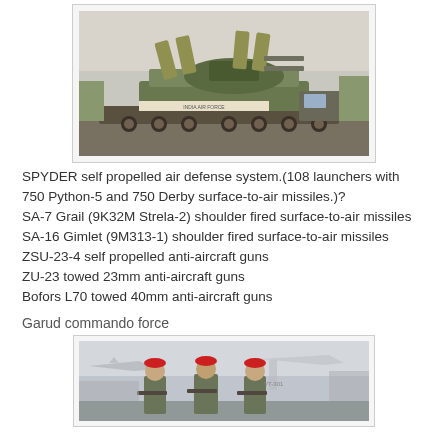[Figure (photo): Military self-propelled air defense vehicle (ZSU-type tank) on a flatbed, photographed at a parade or exhibition]
SPYDER self propelled air defense system.(108 launchers with 750 Python-5 and 750 Derby surface-to-air missiles.)?
SA-7 Grail (9K32M Strela-2) shoulder fired surface-to-air missiles
SA-16 Gimlet (9M313-1) shoulder fired surface-to-air missiles
ZSU-23-4 self propelled anti-aircraft guns
ZU-23 towed 23mm anti-aircraft guns
Bofors L70 towed 40mm anti-aircraft guns
Garud commando force
[Figure (photo): Three soldiers in camouflage uniforms and red berets standing at an airshow or military exhibition with aircraft in the background]